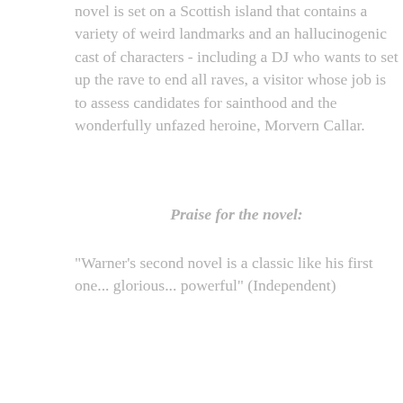novel is set on a Scottish island that contains a variety of weird landmarks and an hallucinogenic cast of characters - including a DJ who wants to set up the rave to end all raves, a visitor whose job is to assess candidates for sainthood and the wonderfully unfazed heroine, Morvern Callar.
Praise for the novel:
"Warner's second novel is a classic like his first one... glorious... powerful" (Independent)